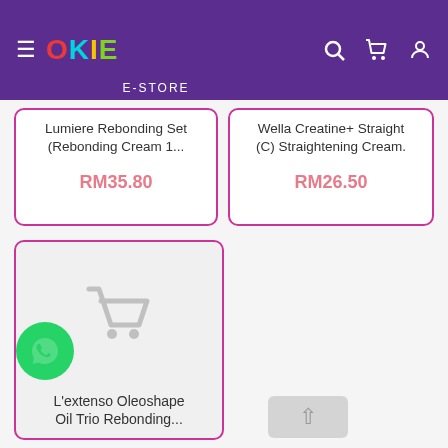OKIE E-STORE
Lumiere Rebonding Set (Rebonding Cream 1... RM35.80
Wella Creatine+ Straight (C) Straightening Cream. RM26.50
[Figure (other): Product card with shopping cart placeholder icon for L'extenso Oleoshape Oil Trio Rebonding...]
L'extenso Oleoshape Oil Trio Rebonding...